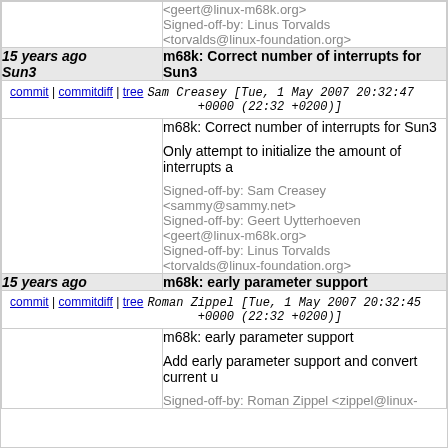<geert@linux-m68k.org>
Signed-off-by: Linus Torvalds <torvalds@linux-foundation.org>
15 years ago Sun3 | m68k: Correct number of interrupts for Sun3
commit | commitdiff | tree  Sam Creasey [Tue, 1 May 2007 20:32:47 +0000 (22:32 +0200)]
m68k: Correct number of interrupts for Sun3

Only attempt to initialize the amount of interrupts a...

Signed-off-by: Sam Creasey <sammy@sammy.net>
Signed-off-by: Geert Uytterhoeven <geert@linux-m68k.org>
Signed-off-by: Linus Torvalds <torvalds@linux-foundation.org>
15 years ago | m68k: early parameter support
commit | commitdiff | tree  Roman Zippel [Tue, 1 May 2007 20:32:45 +0000 (22:32 +0200)]
m68k: early parameter support

Add early parameter support and convert current u...

Signed-off-by: Roman Zippel <zippel@linux-...